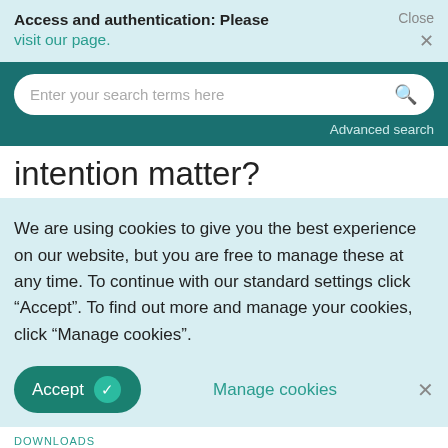Access and authentication: Please visit our page.  Close ×
[Figure (screenshot): Search bar with teal background and rounded input field with placeholder text 'Enter your search terms here' and a search icon. Below the input is 'Advanced search' link text.]
intention matter?
We are using cookies to give you the best experience on our website, but you are free to manage these at any time. To continue with our standard settings click "Accept". To find out more and manage your cookies, click "Manage cookies".
Accept  Manage cookies  ×
DOWNLOADS